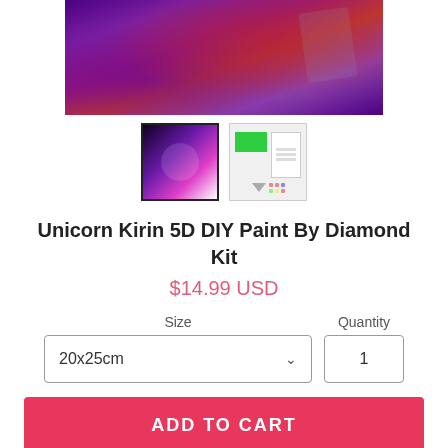[Figure (photo): Unicorn Kirin fantasy art product image with purple and red cosmic background]
[Figure (photo): Two product thumbnail images: one showing the unicorn kirin design, one showing kit contents with green card and accessories]
Unicorn Kirin 5D DIY Paint By Diamond Kit
$14.99 USD
Size
Quantity
20x25cm
1
ADD TO CART
Description: